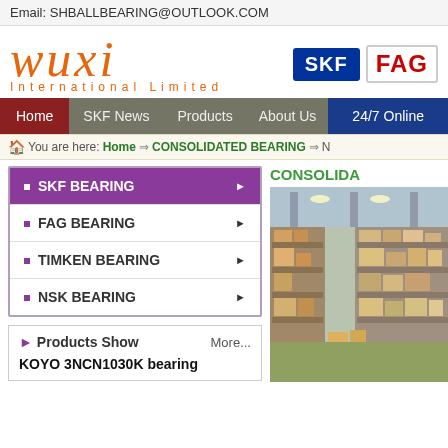Email: SHBALLBEARING@OUTLOOK.COM
[Figure (logo): Wuxi International Limited logo with SKF and FAG brand badges]
Home
SKF News
Products
About Us
24/7 Online
You are here: Home ⇒ CONSOLIDATED BEARING ⇒ N
SKF BEARING
FAG BEARING
TIMKEN BEARING
NSK BEARING
CONSOLIDA
[Figure (photo): Warehouse with shelves stocked with bearing products]
[Figure (photo): Female customer service consultant with headset smiling]
Have any requests, click here.
Quotation
Products Show
More...
KOYO 3NCN1030K bearing